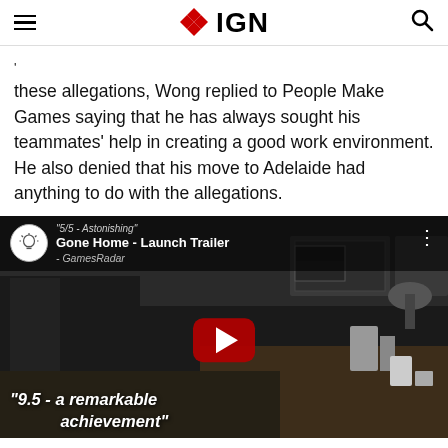IGN
these allegations, Wong replied to People Make Games saying that he has always sought his teammates' help in creating a good work environment. He also denied that his move to Adelaide had anything to do with the allegations.
[Figure (screenshot): YouTube video thumbnail for 'Gone Home - Launch Trailer' with GamesRadar quote overlay. Shows a dark kitchen scene with a red YouTube play button. Text overlays include '"5/5 – Astonishing"', 'Gone Home - Launch Trailer', '- GamesRadar', and '"9.5 - a remarkable achievement"'.]